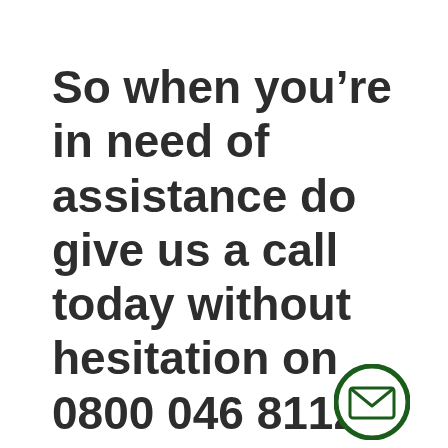So when you’re in need of assistance do give us a call today without hesitation on 0800 046 8112 or 07905 224503.  We look forward to hearing
[Figure (illustration): Dark green circle with white envelope/email icon inside]